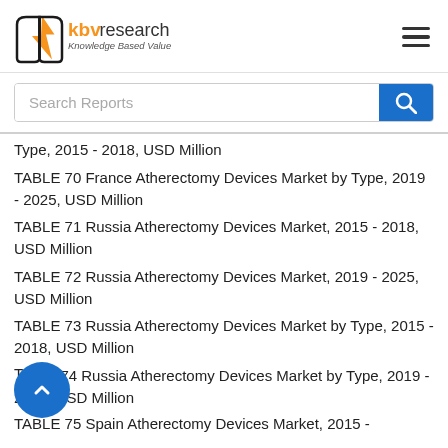[Figure (logo): KBV Research logo with orange arrow/book icon and tagline 'Knowledge Based Value']
Type, 2015 - 2018, USD Million
TABLE 70 France Atherectomy Devices Market by Type, 2019 - 2025, USD Million
TABLE 71 Russia Atherectomy Devices Market, 2015 - 2018, USD Million
TABLE 72 Russia Atherectomy Devices Market, 2019 - 2025, USD Million
TABLE 73 Russia Atherectomy Devices Market by Type, 2015 - 2018, USD Million
TABLE 74 Russia Atherectomy Devices Market by Type, 2019 - 2025, USD Million
TABLE 75 Spain Atherectomy Devices Market, 2015 -